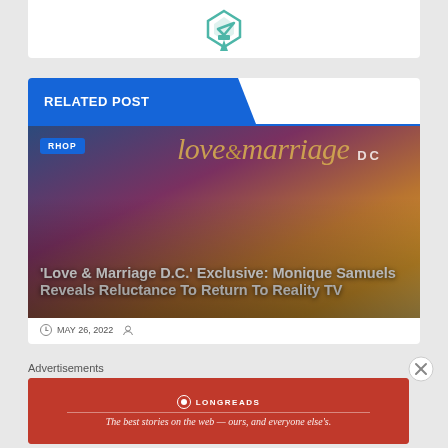[Figure (logo): Teal/green shield-like logo icon at top center of white card]
RELATED POST
[Figure (photo): Love & Marriage DC show promotional image with cast members and golden text overlay]
RHOP
'Love & Marriage D.C.' Exclusive: Monique Samuels Reveals Reluctance To Return To Reality TV
MAY 26, 2022
Advertisements
[Figure (other): Longreads advertisement banner — red background with white text: The best stories on the web — ours, and everyone else's.]